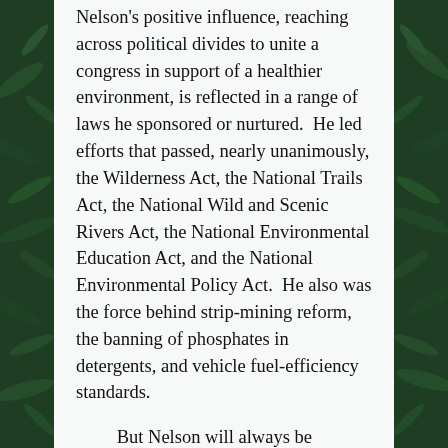Nelson's positive influence, reaching across political divides to unite a congress in support of a healthier environment, is reflected in a range of laws he sponsored or nurtured.  He led efforts that passed, nearly unanimously, the Wilderness Act, the National Trails Act, the National Wild and Scenic Rivers Act, the National Environmental Education Act, and the National Environmental Policy Act.  He also was the force behind strip-mining reform, the banning of phosphates in detergents, and vehicle fuel-efficiency standards.
But Nelson will always be remembered most for his idea to grow conservation from the grass roots.  He wanted the leadership in Washington to understand that the people of the United States wanted a sustainable environment.  So, working with college students, he and a small staff organized the first Earth Day, April 1970.  He also has worked for more Earth D...